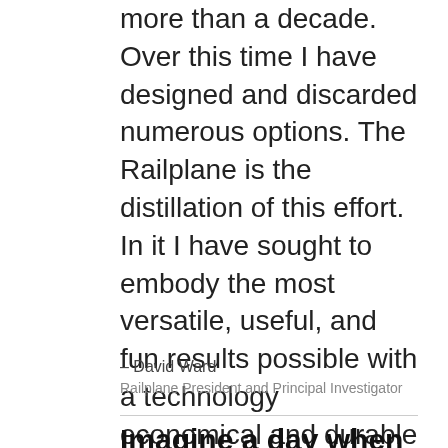more than a decade. Over this time I have designed and discarded numerous options. The Railplane is the distillation of this effort. In it I have sought to embody the most versatile, useful, and fun results possible with a technology economical and durable enough to be implemented world wide.”
– David Ward
Railplane President and Principal Investigator
Imagine a day when traffic